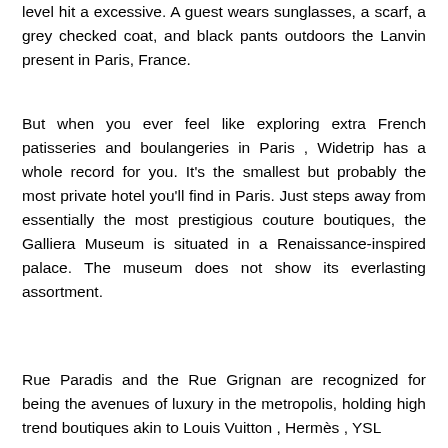level hit a excessive. A guest wears sunglasses, a scarf, a grey checked coat, and black pants outdoors the Lanvin present in Paris, France.
But when you ever feel like exploring extra French patisseries and boulangeries in Paris , Widetrip has a whole record for you. It's the smallest but probably the most private hotel you'll find in Paris. Just steps away from essentially the most prestigious couture boutiques, the Galliera Museum is situated in a Renaissance-inspired palace. The museum does not show its everlasting assortment.
Rue Paradis and the Rue Grignan are recognized for being the avenues of luxury in the metropolis, holding high trend boutiques akin to Louis Vuitton , Hermès , YSL